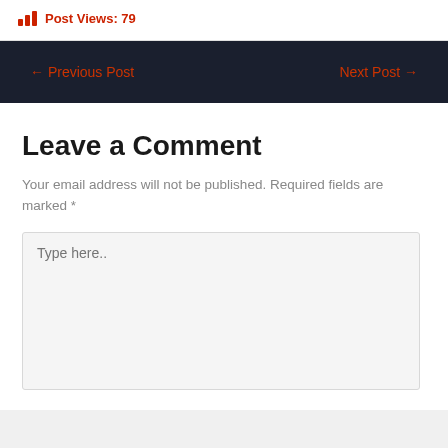Post Views: 79
← Previous Post
Next Post →
Leave a Comment
Your email address will not be published. Required fields are marked *
Type here..